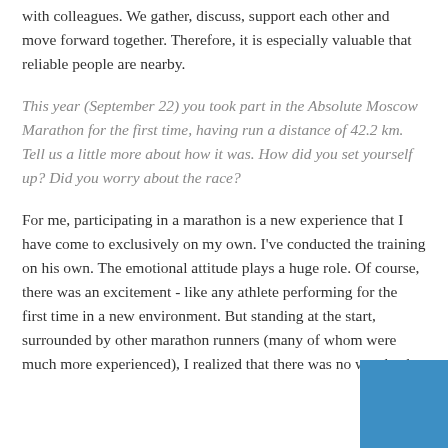with colleagues. We gather, discuss, support each other and move forward together. Therefore, it is especially valuable that reliable people are nearby.
This year (September 22) you took part in the Absolute Moscow Marathon for the first time, having run a distance of 42.2 km. Tell us a little more about how it was. How did you set yourself up? Did you worry about the race?
For me, participating in a marathon is a new experience that I have come to exclusively on my own. I've conducted the training on his own. The emotional attitude plays a huge role. Of course, there was an excitement - like any athlete performing for the first time in a new environment. But standing at the start, surrounded by other marathon runners (many of whom were much more experienced), I realized that there was no way back